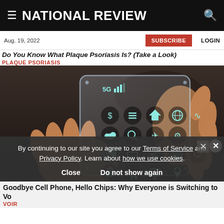NATIONAL REVIEW
Aug. 19, 2022
SUBSCRIBE   LOGIN
Do You Know What Plaque Psoriasis Is? (Take a Look)
PLAQUE PSORIASIS
[Figure (photo): Hands holding a transparent futuristic smartphone with 5G signal icon and app icons visible on the glass display]
By continuing to our site you agree to our Terms of Service and Privacy Policy. Learn about how we use cookies.
Close   Do not show again
Goodbye Cell Phone, Hello Chips: Why Everyone is Switching to VoIP
VOIR